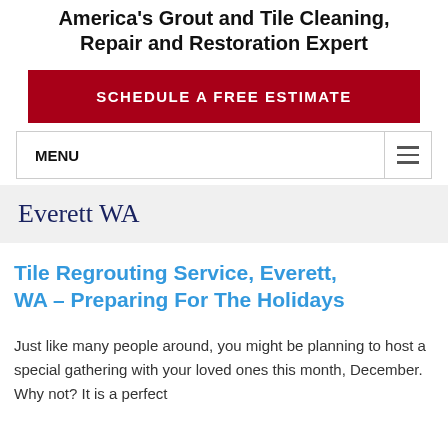America's Grout and Tile Cleaning, Repair and Restoration Expert
[Figure (other): Red CTA button reading SCHEDULE A FREE ESTIMATE]
MENU
Everett WA
Tile Regrouting Service, Everett, WA – Preparing For The Holidays
Just like many people around, you might be planning to host a special gathering with your loved ones this month, December. Why not? It is a perfect